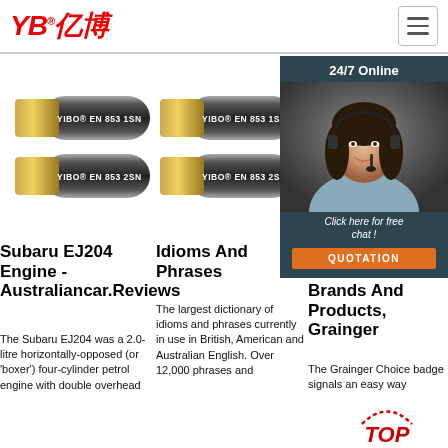[Figure (logo): YB亿博 company logo in red italic text with Chinese characters]
[Figure (photo): Four hydraulic hoses labeled YIBO EN 853 1SN and YIBO EN 853 2SN arranged in two columns of two]
[Figure (photo): Customer service representative woman with headset, overlay with 24/7 Online text, Click here for free chat button, and QUOTATION button]
Subaru EJ204 Engine - Australiancar.Reviews
The Subaru EJ204 was a 2.0-litre horizontally-opposed (or 'boxer') four-cylinder petrol engine with double overhead
Idioms And Phrases
The largest dictionary of idioms and phrases currently in use in British, American and Australian English. Over 12,000 phrases and
Grainger Choice Exclusive Brands And Products, Grainger
The Grainger Choice badge signals an easy way